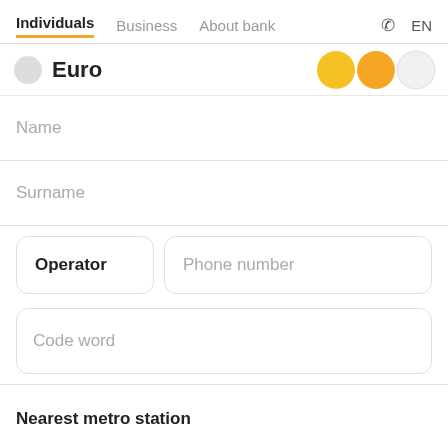Individuals | Business | About bank | EN
Euro
[Figure (other): Three circles: two filled yellow/orange and one light gray, used as UI pagination or step indicators]
Name
Surname
Operator
Phone number
Code word
Nearest metro station